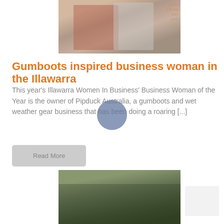[Figure (photo): Two women posing at an event, with text partially visible in the background reading 'g your through our']
Gumboots inspired business woman in the Illawarra
This year's Illawarra Women In Business' Business Woman of the Year is the owner of Pipduck Australia, a gumboots and wet weather gear business that has been doing a roaring [...]
Read More
[Figure (photo): Group of people outdoors on a grass area, appears to be a community or business event]